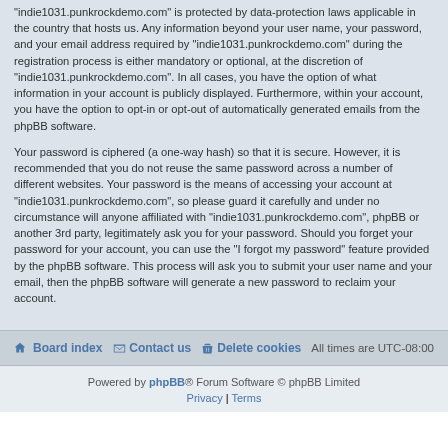“indie1031.punkrockdemo.com” is protected by data-protection laws applicable in the country that hosts us. Any information beyond your user name, your password, and your email address required by “indie1031.punkrockdemo.com” during the registration process is either mandatory or optional, at the discretion of “indie1031.punkrockdemo.com”. In all cases, you have the option of what information in your account is publicly displayed. Furthermore, within your account, you have the option to opt-in or opt-out of automatically generated emails from the phpBB software.
Your password is ciphered (a one-way hash) so that it is secure. However, it is recommended that you do not reuse the same password across a number of different websites. Your password is the means of accessing your account at “indie1031.punkrockdemo.com”, so please guard it carefully and under no circumstance will anyone affiliated with “indie1031.punkrockdemo.com”, phpBB or another 3rd party, legitimately ask you for your password. Should you forget your password for your account, you can use the “I forgot my password” feature provided by the phpBB software. This process will ask you to submit your user name and your email, then the phpBB software will generate a new password to reclaim your account.
Board index   Contact us   Delete cookies   All times are UTC-08:00
Powered by phpBB® Forum Software © phpBB Limited   Privacy | Terms